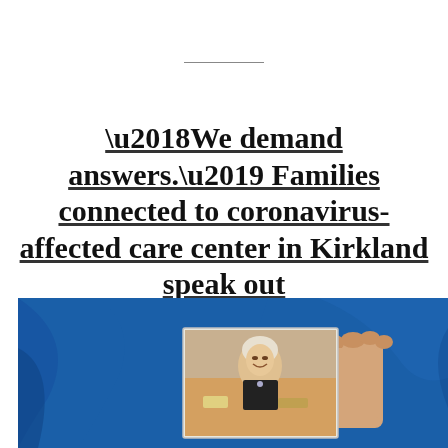'We demand answers.' Families connected to coronavirus-affected care center in Kirkland speak out
[Figure (photo): A person in a blue jacket holding up a photograph of an elderly smiling woman at a dining table]